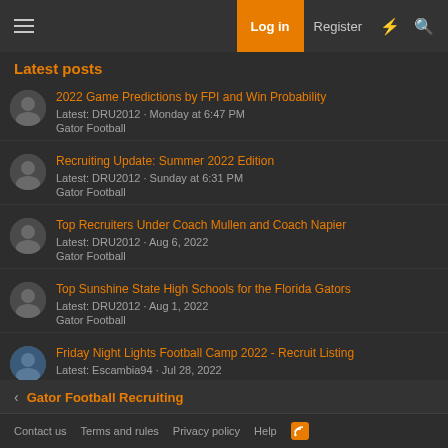Log in   Register
Latest posts
2022 Game Predictions by FPI and Win Probability
Latest: DRU2012 · Monday at 6:47 PM
Gator Football
Recruiting Update: Summer 2022 Edition
Latest: DRU2012 · Sunday at 6:31 PM
Gator Football
Top Recruiters Under Coach Mullen and Coach Napier
Latest: DRU2012 · Aug 6, 2022
Gator Football
Top Sunshine State High Schools for the Florida Gators
Latest: DRU2012 · Aug 1, 2022
Gator Football
Friday Night Lights Football Camp 2022 - Recruit Listing
Latest: Escambia94 · Jul 28, 2022
Gator Football
< Gator Football Recruiting
Contact us   Terms and rules   Privacy policy   Help